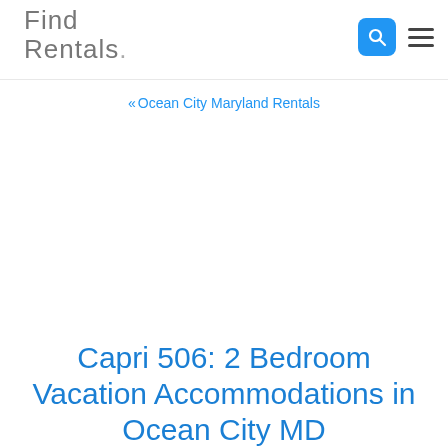Find Rentals.
« Ocean City Maryland Rentals
Capri 506: 2 Bedroom Vacation Accommodations in Ocean City MD